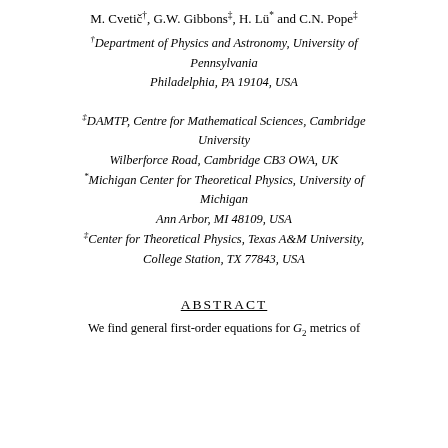M. Cvetič†, G.W. Gibbons‡, H. Lü* and C.N. Pope‡
†Department of Physics and Astronomy, University of Pennsylvania
Philadelphia, PA 19104, USA
‡DAMTP, Centre for Mathematical Sciences, Cambridge University
Wilberforce Road, Cambridge CB3 OWA, UK
*Michigan Center for Theoretical Physics, University of Michigan
Ann Arbor, MI 48109, USA
‡Center for Theoretical Physics, Texas A&M University,
College Station, TX 77843, USA
ABSTRACT
We find general first-order equations for G2 metrics of